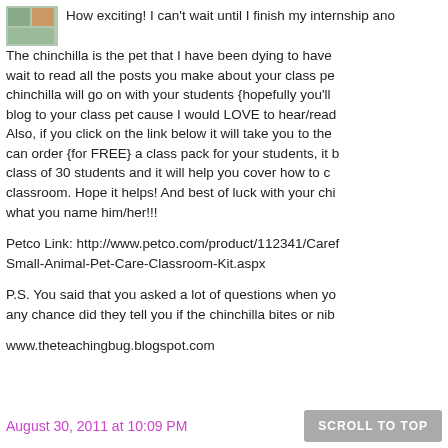[Figure (photo): Small avatar/profile photo thumbnail in top-left corner]
How exciting! I can't wait until I finish my internship and... The chinchilla is the pet that I have been dying to have... wait to read all the posts you make about your class pe... chinchilla will go on with your students {hopefully you'll... blog to your class pet cause I would LOVE to hear/read... Also, if you click on the link below it will take you to the... can order {for FREE} a class pack for your students, it b... class of 30 students and it will help you cover how to c... classroom. Hope it helps! And best of luck with your chi... what you name him/her!!!
Petco Link: http://www.petco.com/product/112341/Care... Small-Animal-Pet-Care-Classroom-Kit.aspx
P.S. You said that you asked a lot of questions when yo... any chance did they tell you if the chinchilla bites or nib...
www.theteachingbug.blogspot.com
August 30, 2011 at 10:09 PM    SCROLL TO TOP